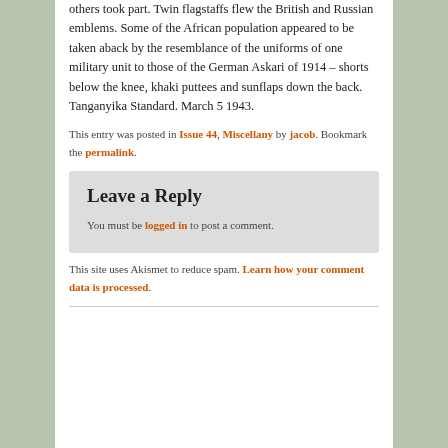others took part. Twin flagstaffs flew the British and Russian emblems. Some of the African population appeared to be taken aback by the resemblance of the uniforms of one military unit to those of the German Askari of 1914 – shorts below the knee, khaki puttees and sunflaps down the back. Tanganyika Standard. March 5 1943.
This entry was posted in Issue 44, Miscellany by jacob. Bookmark the permalink.
Leave a Reply
You must be logged in to post a comment.
This site uses Akismet to reduce spam. Learn how your comment data is processed.